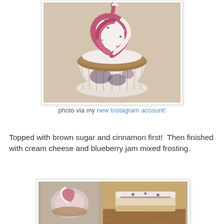[Figure (photo): Close-up photograph of a cupcake with swirled pink/raspberry and white cream cheese frosting on top, sitting in a white paper liner with brown sugar cinnamon topping visible, shot with vintage Instagram filter]
photo via my new Instagram account!
Topped with brown sugar and cinnamon first!  Then finished with cream cheese and blueberry jam mixed frosting.
[Figure (photo): Two images side by side: left shows a cupcake with pink frosting from above, right shows what appears to be a baked good or pastry on a wooden surface]